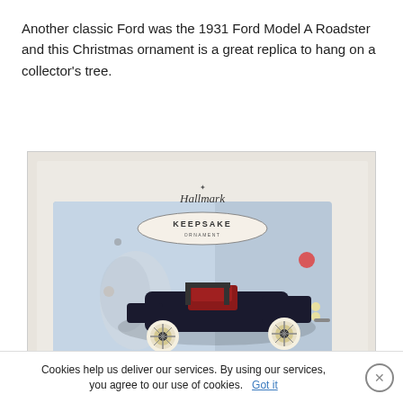Another classic Ford was the 1931 Ford Model A Roadster and this Christmas ornament is a great replica to hang on a collector's tree.
[Figure (photo): Photo of a Hallmark Keepsake Ornament box showing a dark navy blue 1931 Ford Model A Roadster toy car with red interior, white spoke wheels, displayed against a light blue background with colorful dots.]
Cookies help us deliver our services. By using our services, you agree to our use of cookies. Got it